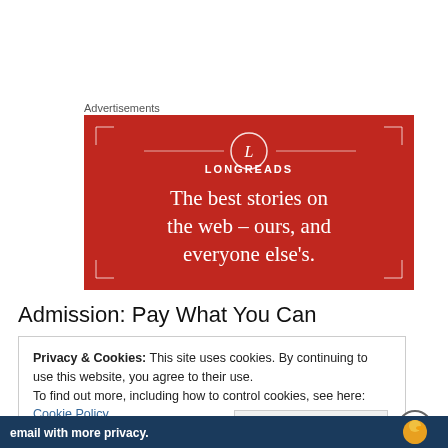Advertisements
[Figure (illustration): Longreads advertisement banner on red background with 'L' logo in circle, decorative corner brackets, and text: 'The best stories on the web – ours, and everyone else's.']
Admission: Pay What You Can
Privacy & Cookies: This site uses cookies. By continuing to use this website, you agree to their use.
To find out more, including how to control cookies, see here: Cookie Policy
Close and accept
[Figure (screenshot): Bottom banner advertisement with white text 'email with more privacy.' and a duck logo on dark blue background]